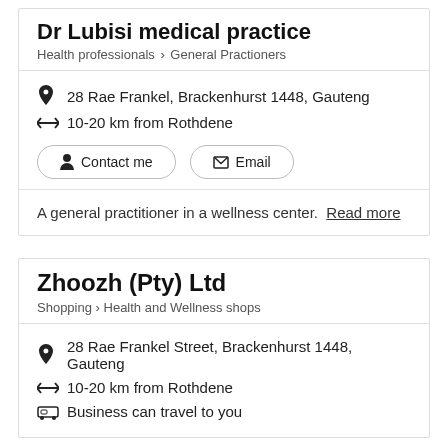Dr Lubisi medical practice
Health professionals > General Practioners
28 Rae Frankel, Brackenhurst 1448, Gauteng
10-20 km from Rothdene
Contact me
Email
A general practitioner in a wellness center. Read more
Zhoozh (Pty) Ltd
Shopping > Health and Wellness shops
28 Rae Frankel Street, Brackenhurst 1448, Gauteng
10-20 km from Rothdene
Business can travel to you